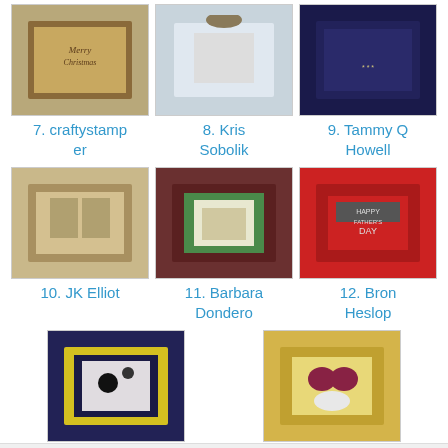[Figure (photo): Thumbnail image 7 - craftystamper card]
7. craftystamper
[Figure (photo): Thumbnail image 8 - Kris Sobolik card]
8. Kris Sobolik
[Figure (photo): Thumbnail image 9 - Tammy Q Howell card]
9. Tammy Q Howell
[Figure (photo): Thumbnail image 10 - JK Elliot card]
10. JK Elliot
[Figure (photo): Thumbnail image 11 - Barbara Dondero card]
11. Barbara Dondero
[Figure (photo): Thumbnail image 12 - Bron Heslop card]
12. Bron Heslop
[Figure (photo): Thumbnail image 13 - CherylAnn Robinson card]
13. CherylAnn Robinson
[Figure (photo): Thumbnail image 14 - Cam card]
14. Cam
(Cannot add links: Registration/trial expired)
MJ at 6:03 AM   3 comments:
Share